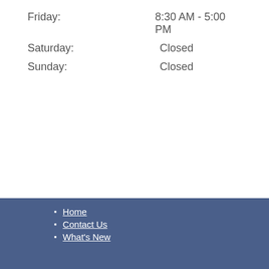Friday: 8:30 AM - 5:00 PM
Saturday: Closed
Sunday: Closed
Home
Contact Us
What's New